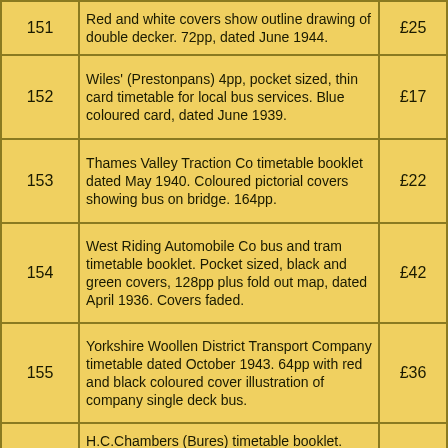| Lot | Description | Price |
| --- | --- | --- |
| 151 | Red and white covers show outline drawing of double decker. 72pp, dated June 1944. | £25 |
| 152 | Wiles' (Prestonpans) 4pp, pocket sized, thin card timetable for local bus services. Blue coloured card, dated June 1939. | £17 |
| 153 | Thames Valley Traction Co timetable booklet dated May 1940. Coloured pictorial covers showing bus on bridge. 164pp. | £22 |
| 154 | West Riding Automobile Co bus and tram timetable booklet. Pocket sized, black and green covers, 128pp plus fold out map, dated April 1936. Covers faded. | £42 |
| 155 | Yorkshire Woollen District Transport Company timetable dated October 1943. 64pp with red and black coloured cover illustration of company single deck bus. | £36 |
| 156 | H.C.Chambers (Bures) timetable booklet. Card covers, pocket sized, 8pp, dated January 1952. | £32 |
| 157 | City of Cardiff Transport timetable booklet. Red covers, 144pp dated November 1968. | £22 |
| 158 | Lancashire United Transport timetable booklet dated June 1954. Red and black covers, 128pp plus fold out map. | £42 |